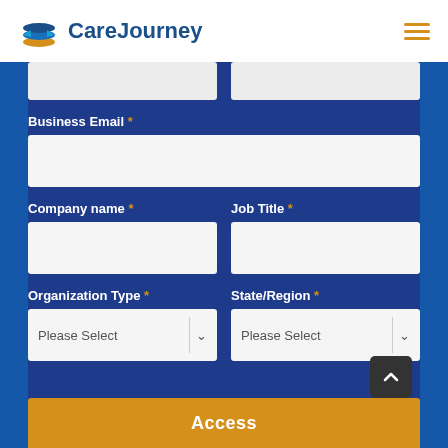[Figure (logo): CareJourney logo with layered book icon in blue and orange]
Business Email *
Company name *
Job Title *
Organization Type *
State/Region *
Access